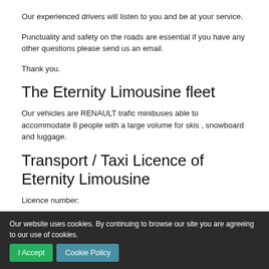Our experienced drivers will listen to you and be at your service.
Punctuality and safety on the roads are essential if you have any other questions please send us an email.
Thank you.
The Eternity Limousine fleet
Our vehicles are RENAULT trafic minibuses able to accommodate 8 people with a large volume for skis , snowboard and luggage.
Transport / Taxi Licence of Eternity Limousine
Licence number:
Our website uses cookies. By continuing to browse our site you are agreeing to our use of cookies.  I Accept  Cookie Policy